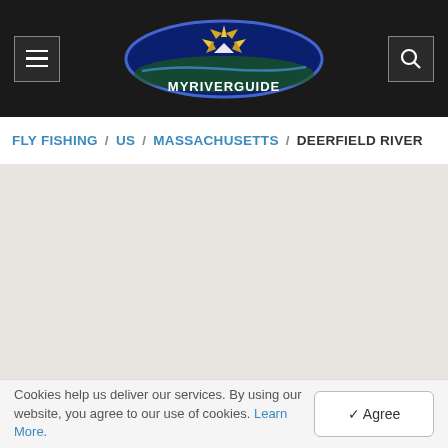MYRIVERGUIDE
FLY FISHING / US / MASSACHUSETTS / DEERFIELD RIVER
[Figure (map): Light gray blank map area for Deerfield River location]
Cookies help us deliver our services. By using our website, you agree to our use of cookies. Learn More.  ✓ Agree